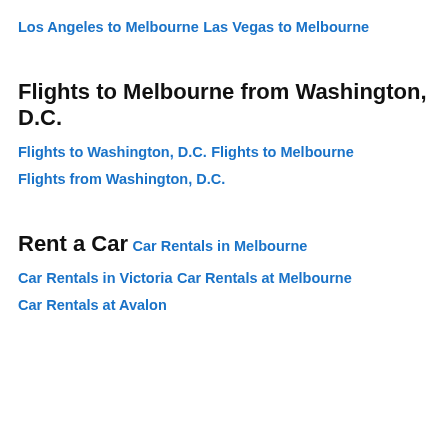Los Angeles to Melbourne
Las Vegas to Melbourne
Flights to Melbourne from Washington, D.C.
Flights to Washington, D.C.
Flights to Melbourne
Flights from Washington, D.C.
Rent a Car
Car Rentals in Melbourne
Car Rentals in Victoria
Car Rentals at Melbourne
Car Rentals at Avalon